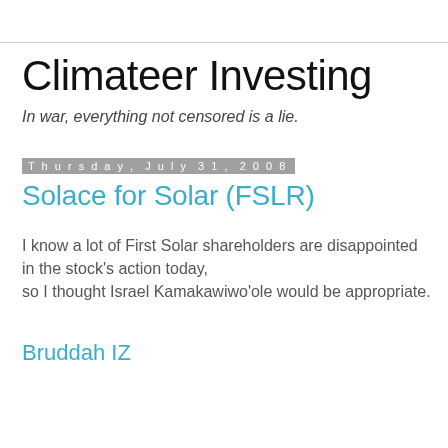Climateer Investing
In war, everything not censored is a lie.
Thursday, July 31, 2008
Solace for Solar (FSLR)
I know a lot of First Solar shareholders are disappointed in the stock's action today,
so I thought Israel Kamakawiwo'ole would be appropriate.
Bruddah IZ